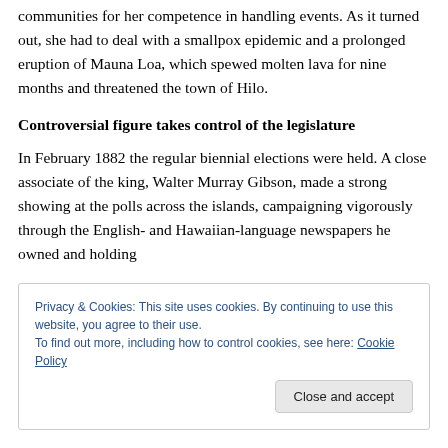communities for her competence in handling events. As it turned out, she had to deal with a smallpox epidemic and a prolonged eruption of Mauna Loa, which spewed molten lava for nine months and threatened the town of Hilo.
Controversial figure takes control of the legislature
In February 1882 the regular biennial elections were held. A close associate of the king, Walter Murray Gibson, made a strong showing at the polls across the islands, campaigning vigorously through the English- and Hawaiian-language newspapers he owned and holding
Privacy & Cookies: This site uses cookies. By continuing to use this website, you agree to their use.
To find out more, including how to control cookies, see here: Cookie Policy